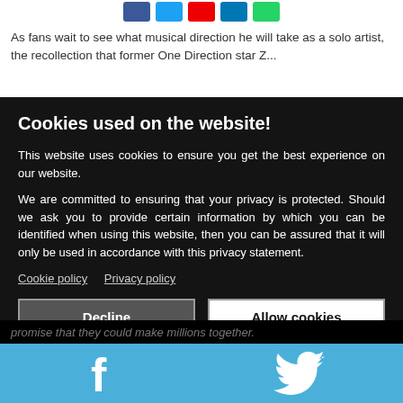[Figure (other): Social sharing icon buttons (Facebook blue, Twitter blue, YouTube red, LinkedIn blue, WhatsApp green) at top of page]
As fans wait to see what musical direction he will take as a solo artist, the recollection that former One Direction star Zayn...
Cookies used on the website!
This website uses cookies to ensure you get the best experience on our website.
We are committed to ensuring that your privacy is protected. Should we ask you to provide certain information by which you can be identified when using this website, then you can be assured that it will only be used in accordance with this privacy statement.
Cookie policy   Privacy policy
Decline   Allow cookies
promise that they could make millions together.
[Figure (other): Social share bar with Facebook and Twitter icons on blue background]